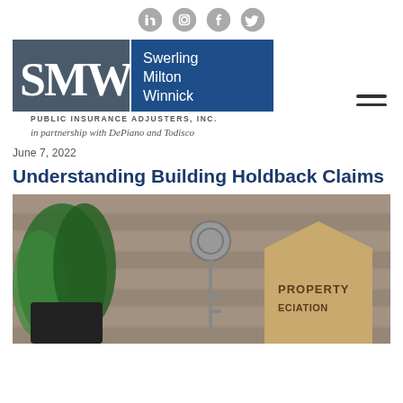[Figure (logo): Social media icons row: LinkedIn, Instagram, Facebook, Twitter]
[Figure (logo): SMW Swerling Milton Winnick Public Insurance Adjusters Inc logo with tagline: in partnership with DePiano and Todisco]
June 7, 2022
Understanding Building Holdback Claims
[Figure (photo): Photo of keys on a wooden surface with a house-shaped cardboard cutout showing 'PROPERTY DEPRECIATION' text, and green plant in background]